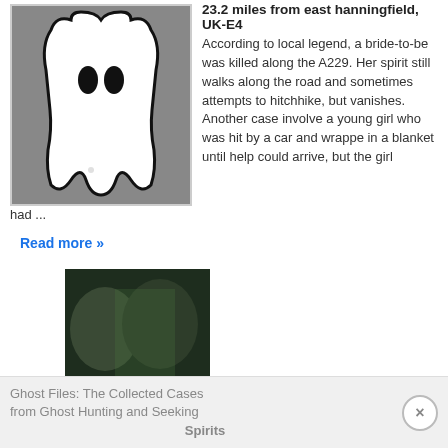[Figure (illustration): Ghost map illustration — white ghost silhouette outline on a gray background, bordered by a light gray rectangle]
23.2 miles from east hanningfield, UK-E4
According to local legend, a bride-to-be was killed along the A229. Her spirit still walks along the road and sometimes attempts to hitchhike, but vanishes. Another case involves a young girl who was hit by a car and wrapped in a blanket until help could arrive, but the girl had ...
Read more »
[Figure (photo): Book cover of 'Ghost Files: The Collected Cases from Ghost Hunting and Seeking Spirits' by Jason Hawes and Grant Wilson — shows two men's faces in dark, moody lighting with green tint]
Ghost Files: The Collected Cases from Ghost Hunting and Seeking Spirits